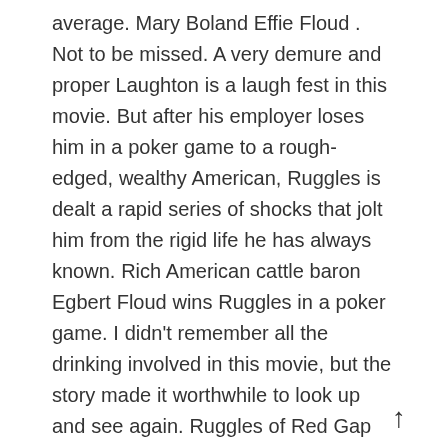average. Mary Boland Effie Floud . Not to be missed. A very demure and proper Laughton is a laugh fest in this movie. But after his employer loses him in a poker game to a rough-edged, wealthy American, Ruggles is dealt a rapid series of shocks that jolt him from the rigid life he has always known. Rich American cattle baron Egbert Floud wins Ruggles in a poker game. I didn't remember all the drinking involved in this movie, but the story made it worthwhile to look up and see again. Ruggles of Red Gap adalah sebuah film komedi 1935 garapan Leo McCarey dan dibintangi oleh Charles Laughton, Mary Boland, Charlie Ruggles, dan ZaSu Pitts, dan menampilkan Roland Young dan Leila Hyams.Film tersebut berdasarkan pada novel tahun 1915 berpenjualan terbaik karya Harry Leon Wilson, yang diadaptasi oleh Humphrey Pearson, dengan sebuah skenario buatan … When the butler is mistaken for a wealthy Englishman, he becomes a small-town celebrity. It